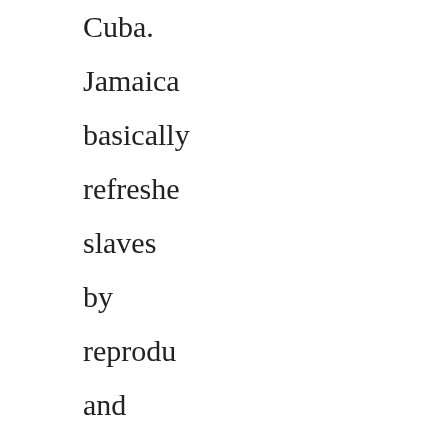have in Cuba. Jamaica basically refreshes slaves by reproduction and Cuba brought slaves from Africa. For Jamaica it's very obvious that